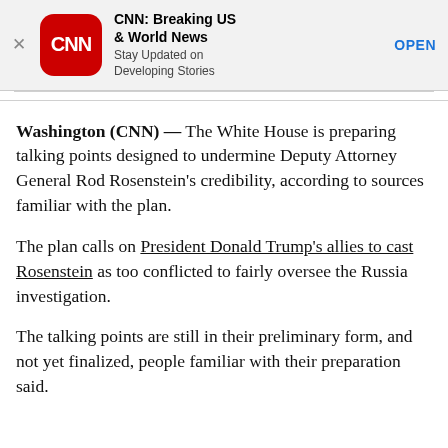[Figure (logo): CNN app advertisement banner with CNN logo (red rounded square with CNN text), app name 'CNN: Breaking US & World News', subtitle 'Stay Updated on Developing Stories', and an OPEN button]
Washington (CNN) — The White House is preparing talking points designed to undermine Deputy Attorney General Rod Rosenstein's credibility, according to sources familiar with the plan.
The plan calls on President Donald Trump's allies to cast Rosenstein as too conflicted to fairly oversee the Russia investigation.
The talking points are still in their preliminary form, and not yet finalized, people familiar with their preparation said.